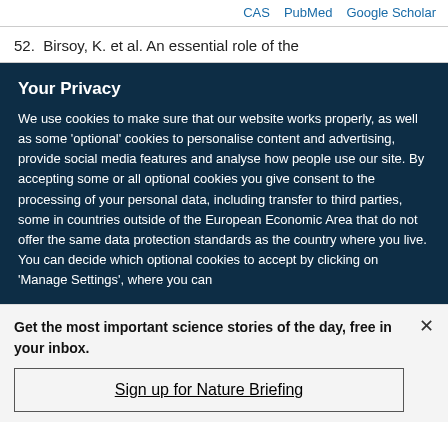CAS  PubMed  Google Scholar
52.  Birsoy, K. et al. An essential role of the
Your Privacy
We use cookies to make sure that our website works properly, as well as some 'optional' cookies to personalise content and advertising, provide social media features and analyse how people use our site. By accepting some or all optional cookies you give consent to the processing of your personal data, including transfer to third parties, some in countries outside of the European Economic Area that do not offer the same data protection standards as the country where you live. You can decide which optional cookies to accept by clicking on 'Manage Settings', where you can
Get the most important science stories of the day, free in your inbox.
Sign up for Nature Briefing